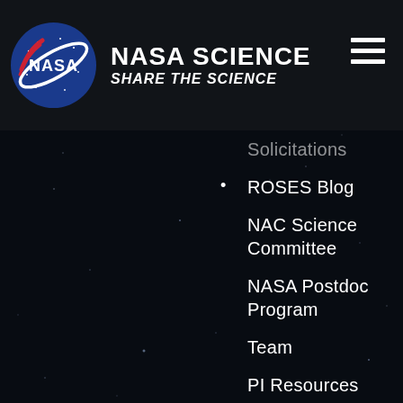[Figure (logo): NASA meatball logo — blue circle with NASA text, orbital ring, and red chevron]
NASA SCIENCE
SHARE THE SCIENCE
Solicitations
ROSES Blog
NAC Science Committee
NASA Postdoc Program
Team
PI Resources
Science Data
Help & Support
LEARNERS
Overview
Teams
Resources
SME Map